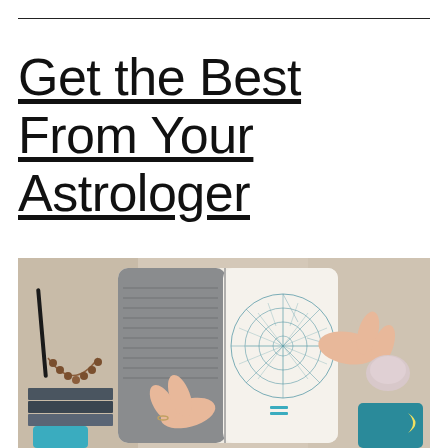Get the Best From Your Astrologer
[Figure (photo): Overhead view of a person's hands holding open a notebook with a circular astrology chart drawn on the right page, placed on a table with beads, stacked books/papers, a crystal, and teal cosmic-themed decorative items visible around it.]